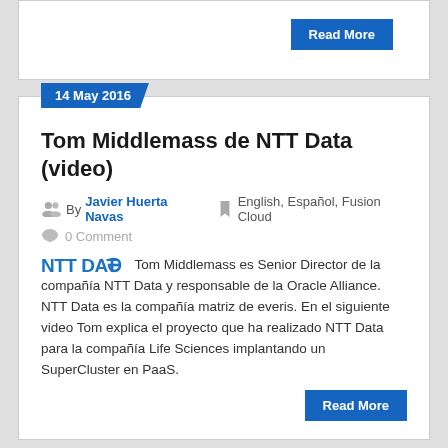Read More
14 May 2016
Tom Middlemass de NTT Data (video)
By Javier Huerta Navas   English, Español, Fusion Cloud
0 Comment
Tom Middlemass es Senior Director de la compañía NTT Data y responsable de la Oracle Alliance. NTT Data es la compañía matriz de everis. En el siguiente video Tom explica el proyecto que ha realizado NTT Data para la compañía Life Sciences implantando un SuperCluster en PaaS.
Read More